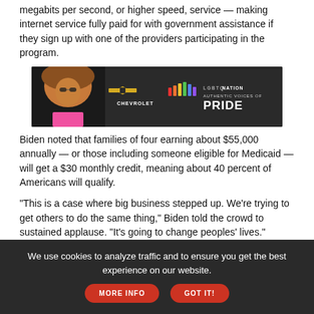megabits per second, or higher speed, service — making internet service fully paid for with government assistance if they sign up with one of the providers participating in the program.
[Figure (photo): LGBTQ Nation Authentic Voices of Pride advertisement featuring Chevrolet branding with a person with large curly hair and rainbow-colored equalizer bars.]
Biden noted that families of four earning about $55,000 annually — or those including someone eligible for Medicaid — will get a $30 monthly credit, meaning about 40 percent of Americans will qualify.
"This is a case where big business stepped up. We're trying to get others to do the same thing," Biden told the crowd to sustained applause. "It's going to change peoples' lives."
[Figure (photo): 2022 Chevrolet Equinox advertisement showing a car on a forest road with text: PROUD TO FIND NEW ROADS]
We use cookies to analyze traffic and to ensure you get the best experience on our website.